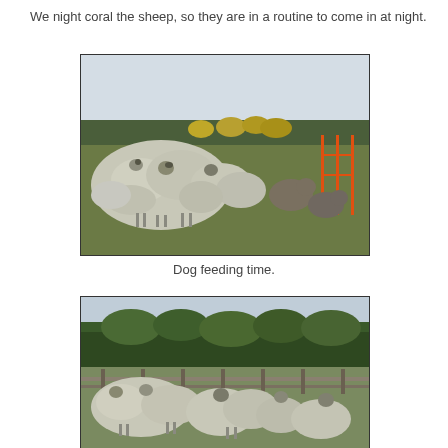We night coral the sheep, so they are in a routine to come in at night.
[Figure (photo): A large flock of sheep grazing in a field with bales of hay and trees in the background. Two large livestock guardian dogs are visible on the right side among the sheep.]
Dog feeding time.
[Figure (photo): A flock of sheep gathered near a fence with a dense treeline in the background.]